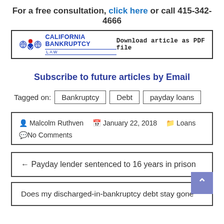For a free consultation, click here or call 415-342-4666
[Figure (logo): California Bankruptcy Law logo with Download article as PDF file button]
Subscribe to future articles by Email
Tagged on: Bankruptcy  Debt  payday loans
Malcolm Ruthven  January 22, 2018  Loans  No Comments
← Payday lender sentenced to 16 years in prison
Does my discharged-in-bankruptcy debt stay gone